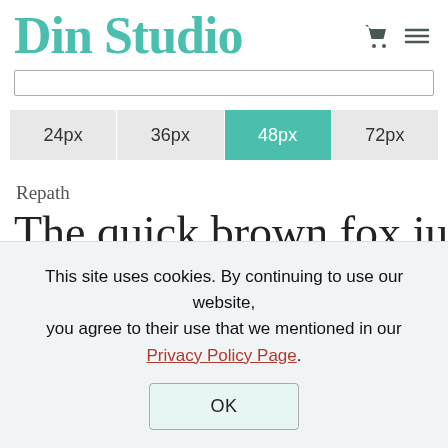Din Studio
Repath
The quick brown fox ju
This site uses cookies. By continuing to use our website, you agree to their use that we mentioned in our Privacy Policy Page.
OK